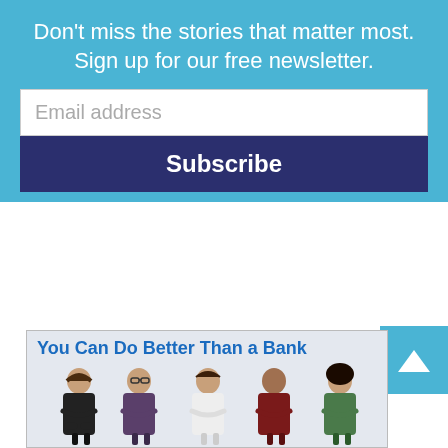Don't miss the stories that matter most. Sign up for our free newsletter.
Email address
Subscribe
[Figure (illustration): A scroll-to-top button with an upward triangle arrow on a teal/blue background, positioned in the upper right area after the newsletter banner.]
[Figure (infographic): Advertisement banner reading 'You Can Do Better Than a Bank' with five diverse people standing with arms crossed against a light gray background.]